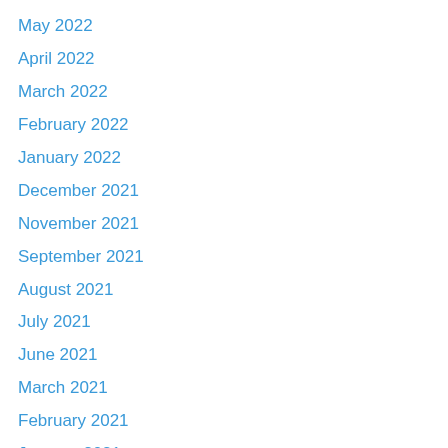May 2022
April 2022
March 2022
February 2022
January 2022
December 2021
November 2021
September 2021
August 2021
July 2021
June 2021
March 2021
February 2021
January 2021
December 2020
August 2020
July 2020
June 2020
May 2020
April 2020